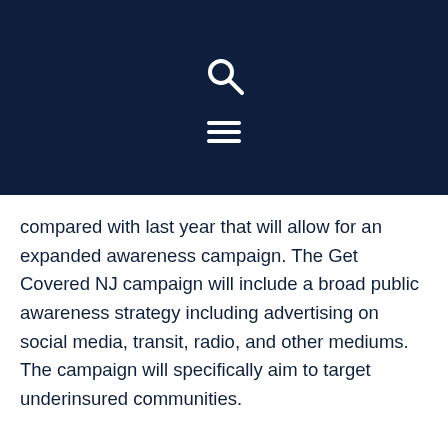[Figure (other): Dark navy header bar with a white search icon (magnifying glass) and a white hamburger menu icon (three horizontal lines)]
compared with last year that will allow for an expanded awareness campaign. The Get Covered NJ campaign will include a broad public awareness strategy including advertising on social media, transit, radio, and other mediums. The campaign will specifically aim to target underinsured communities.
Additionally, DOBI will launch a new online shopping tool that will help make shopping for health care coverage simpler during this year's Open Enrollment Period, which runs November 1 to December 15. The new tool will be available on the state's Get Covered New Jersey website, GetCovered.NJ.gov, during open